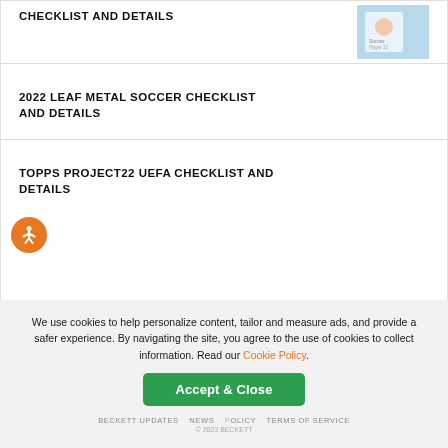CHECKLIST AND DETAILS
[Figure (illustration): Card product image on light blue background]
2022 LEAF METAL SOCCER CHECKLIST AND DETAILS
TOPPS PROJECT22 UEFA CHECKLIST AND DETAILS
[Figure (illustration): Orange accessibility icon button (person with arms outstretched in circle)]
We use cookies to help personalize content, tailor and measure ads, and provide a safer experience. By navigating the site, you agree to the use of cookies to collect information. Read our Cookie Policy.
Accept & Close
BECKETT UPDATES    NEWS    ...OLICY    TERMS OF SERVICE    ...